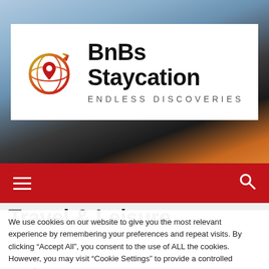[Figure (photo): Airplane wing photo used as hero background image with sky and sunset colors]
[Figure (logo): BnBs Staycation logo with globe/location pin icon in red-orange-yellow gradient and text 'BnBs Staycation' with tagline 'ENDLESS DISCOVERIES']
Travel & Leisure
We use cookies on our website to give you the most relevant experience by remembering your preferences and repeat visits. By clicking "Accept All", you consent to the use of ALL the cookies. However, you may visit "Cookie Settings" to provide a controlled consent.